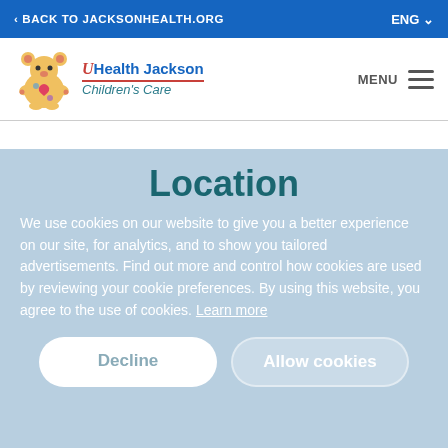BACK TO JACKSONHEALTH.ORG
[Figure (logo): UHealth Jackson Children's Care logo with colorful teddy bear mascot]
Location
We use cookies on our website to give you a better experience on our site, for analytics, and to show you tailored advertisements. Find out more and control how cookies are used by reviewing your cookie preferences. By using this website, you agree to the use of cookies. Learn more
Decline
Allow cookies